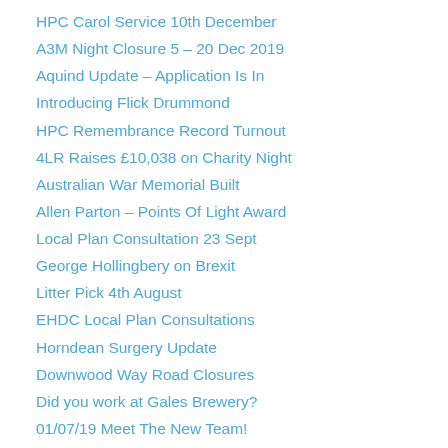HPC Carol Service 10th December
A3M Night Closure 5 – 20 Dec 2019
Aquind Update – Application Is In
Introducing Flick Drummond
HPC Remembrance Record Turnout
4LR Raises £10,038 on Charity Night
Australian War Memorial Built
Allen Parton – Points Of Light Award
Local Plan Consultation 23 Sept
George Hollingbery on Brexit
Litter Pick 4th August
EHDC Local Plan Consultations
Horndean Surgery Update
Downwood Way Road Closures
Did you work at Gales Brewery?
01/07/19 Meet The New Team!
D-Day Build-up in Horndean
Armed Forces Day 29 June 2019
EHDC – The 2019 election results
Local Elections Runners and Riders